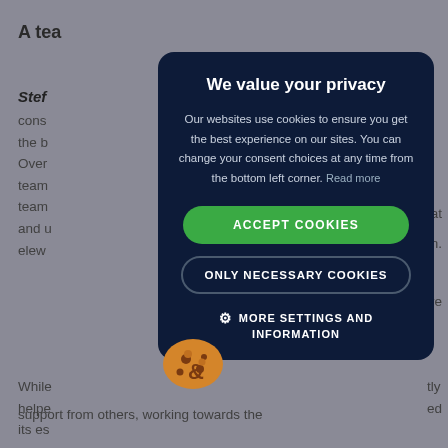A tea
Stef
cons
the b
Over
team
team
and u
elew
[Figure (screenshot): Cookie consent modal overlay on a dark navy background with title 'We value your privacy', body text about cookie usage, green ACCEPT COOKIES button, ONLY NECESSARY COOKIES button, and MORE SETTINGS AND INFORMATION option with gear icon. Cookie mascot icon visible at bottom left.]
While
helpe
its es
support from others, working towards the